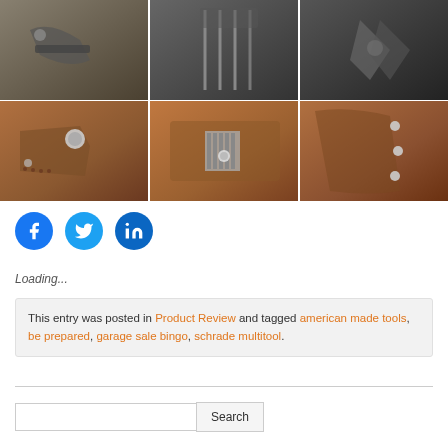[Figure (photo): Grid of 6 product photos showing a multitool and leather sheaths/holsters. Top row: three photos of metal multitool/pliers tools. Bottom row: three close-up photos of brown leather sheaths with snaps and rivets.]
[Figure (infographic): Three circular social share buttons: Facebook (blue), Twitter (light blue), LinkedIn (dark blue)]
Loading...
This entry was posted in Product Review and tagged american made tools, be prepared, garage sale bingo, schrade multitool.
Search